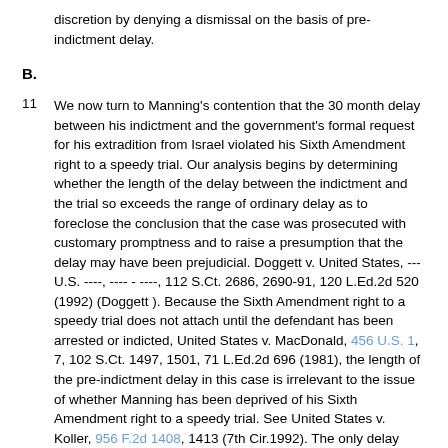discretion by denying a dismissal on the basis of pre-indictment delay.
B.
11 We now turn to Manning's contention that the 30 month delay between his indictment and the government's formal request for his extradition from Israel violated his Sixth Amendment right to a speedy trial. Our analysis begins by determining whether the length of the delay between the indictment and the trial so exceeds the range of ordinary delay as to foreclose the conclusion that the case was prosecuted with customary promptness and to raise a presumption that the delay may have been prejudicial. Doggett v. United States, --- U.S. ----, ---- - ----, 112 S.Ct. 2686, 2690-91, 120 L.Ed.2d 520 (1992) (Doggett ). Because the Sixth Amendment right to a speedy trial does not attach until the defendant has been arrested or indicted, United States v. MacDonald, 456 U.S. 1, 7, 102 S.Ct. 1497, 1501, 71 L.Ed.2d 696 (1981), the length of the pre-indictment delay in this case is irrelevant to the issue of whether Manning has been deprived of his Sixth Amendment right to a speedy trial. See United States v. Koller, 956 F.2d 1408, 1413 (7th Cir.1992). The only delay relevant to the question of whether Manning was deprived of his Sixth Amendment right to a speedy trial is...